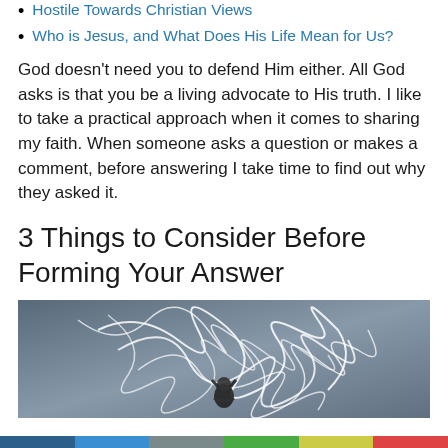Hostile Towards Christian Views
Who is Jesus, and What Does His Life Mean for Us?
God doesn't need you to defend Him either. All God asks is that you be a living advocate to His truth. I like to take a practical approach when it comes to sharing my faith. When someone asks a question or makes a comment, before answering I take time to find out why they asked it.
3 Things to Consider Before Forming Your Answer
[Figure (photo): Person sitting with hands on head surrounded by tangled white scribble lines on a grey background, representing confusion or overwhelm]